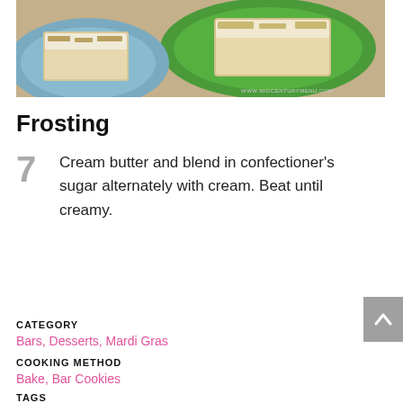[Figure (photo): Top-down photo of frosted bar cookies on a green plate and a blue dish, with watermark www.midcenturymenu.com]
Frosting
7  Cream butter and blend in confectioner's sugar alternately with cream. Beat until creamy.
CATEGORY
Bars, Desserts, Mardi Gras
COOKING METHOD
Bake, Bar Cookies
TAGS